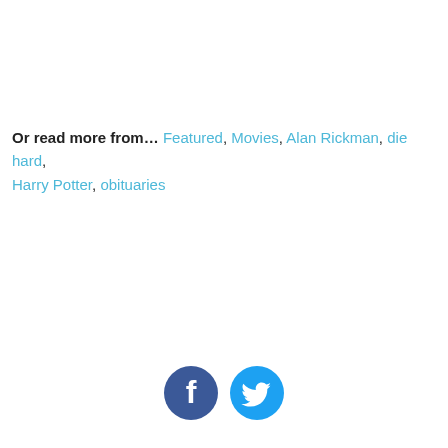Or read more from… Featured, Movies, Alan Rickman, die hard, Harry Potter, obituaries
[Figure (illustration): Two social media share icons: a dark blue Facebook icon (circle with white 'f') and a light blue Twitter icon (circle with white bird logo)]